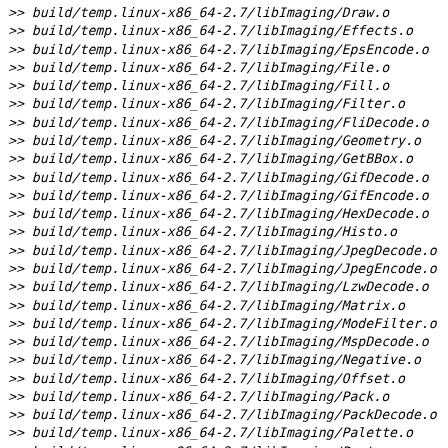>> build/temp.linux-x86_64-2.7/libImaging/Draw.o
>> build/temp.linux-x86_64-2.7/libImaging/Effects.o
>> build/temp.linux-x86_64-2.7/libImaging/EpsEncode.o
>> build/temp.linux-x86_64-2.7/libImaging/File.o
>> build/temp.linux-x86_64-2.7/libImaging/Fill.o
>> build/temp.linux-x86_64-2.7/libImaging/Filter.o
>> build/temp.linux-x86_64-2.7/libImaging/FliDecode.o
>> build/temp.linux-x86_64-2.7/libImaging/Geometry.o
>> build/temp.linux-x86_64-2.7/libImaging/GetBBox.o
>> build/temp.linux-x86_64-2.7/libImaging/GifDecode.o
>> build/temp.linux-x86_64-2.7/libImaging/GifEncode.o
>> build/temp.linux-x86_64-2.7/libImaging/HexDecode.o
>> build/temp.linux-x86_64-2.7/libImaging/Histo.o
>> build/temp.linux-x86_64-2.7/libImaging/JpegDecode.o
>> build/temp.linux-x86_64-2.7/libImaging/JpegEncode.o
>> build/temp.linux-x86_64-2.7/libImaging/LzwDecode.o
>> build/temp.linux-x86_64-2.7/libImaging/Matrix.o
>> build/temp.linux-x86_64-2.7/libImaging/ModeFilter.o
>> build/temp.linux-x86_64-2.7/libImaging/MspDecode.o
>> build/temp.linux-x86_64-2.7/libImaging/Negative.o
>> build/temp.linux-x86_64-2.7/libImaging/Offset.o
>> build/temp.linux-x86_64-2.7/libImaging/Pack.o
>> build/temp.linux-x86_64-2.7/libImaging/PackDecode.o
>> build/temp.linux-x86_64-2.7/libImaging/Palette.o
>> build/temp.linux-x86_64-2.7/libImaging/Paste.o
>> build/temp.linux-x86_64-2.7/libImaging/Quant.o
>> build/temp.linux-x86_64-2.7/libImaging/QuantOctree.o
>> build/temp.linux-x86_64-2.7/libImaging/QuantHash.o
>> build/temp.linux-x86_64-2.7/libImaging/QuantHeap.o
>> build/temp.linux-x86_64-2.7/libImaging/PcdDecode.o
>> build/temp.linux-x86_64-2.7/libImaging/PcdDecode.o